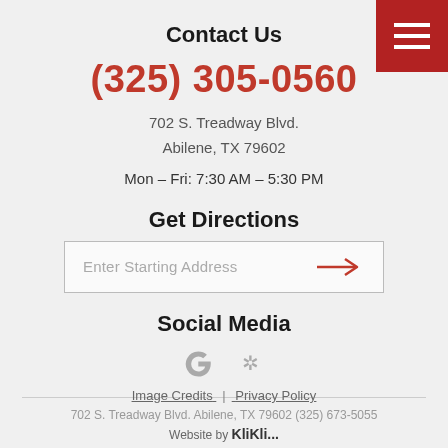Contact Us
(325) 305-0560
702 S. Treadway Blvd.
Abilene, TX 79602
Mon – Fri: 7:30 AM – 5:30 PM
Get Directions
Enter Starting Address
Social Media
[Figure (logo): Google and Yelp social media icons]
Image Credits | Privacy Policy
702 S. Treadway Blvd. Abilene, TX 79602 (325) 673-5055
Website by KliKli...